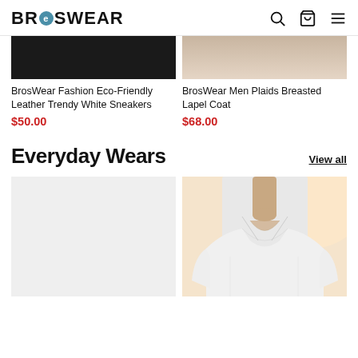BROSWEAR
[Figure (photo): Dark product image (sneakers) cropped at top]
BrosWear Fashion Eco-Friendly Leather Trendy White Sneakers
$50.00
[Figure (photo): Light product image (coat) cropped at top]
BrosWear Men Plaids Breasted Lapel Coat
$68.00
Everyday Wears
View all
[Figure (photo): Light gray placeholder product image]
[Figure (photo): Photo of man wearing white v-neck short sleeve shirt]